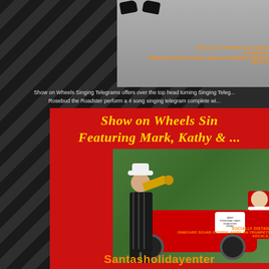[Figure (photo): Top portion of Show on Wheels singing telegram photo showing shoes and car, with orange text overlay reading SOCIALLY DISTANCED CUSTOM HUSBAND and ONBOARD SOUND SYSTEM, MARK ON TRUMPET/ VOCALS, KATHY O]
Show on Wheels Singing Telegrams offers over the top head turning Singing Telegrams. Rosebud the Roadster perform a 4 song singing telegram complete wi...
[Figure (photo): Red promotional box featuring Show on Wheels Singing Telegrams with yellow italic text headings 'Show on Wheels Sin...' and 'Featuring Mark, Kathy & ...' above a photo of man in black and white pinstripe suit playing trumpet next to a red vintage roadster car, with orange text overlay SOCIALLY DISTAN... and ONBOARD SOUND SYSTEM, MARK ON TRUMPET/ VOCALS... at bottom, and website Santasholidayenter...]
Show on Wheels Sin... Featuring Mark, Kathy & ...
SOCIALLY DISTANCED CUSTOM HUSBAND
ONBOARD SOUND SYSTEM, MARK ON TRUMPET/ VOCALS, KATHY O
SOCIALLY DISTAN...
ONBOARD SOUND SYSTEM, MARK ON TRUMPET/ VOCALS,
Santasholidayenter...